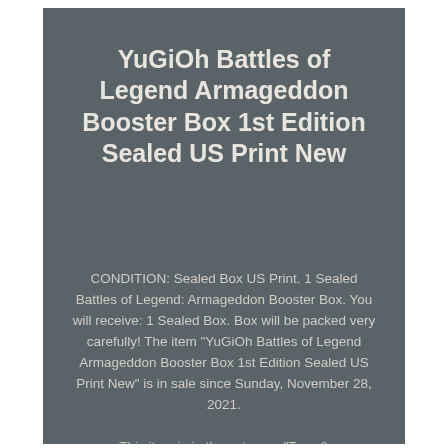YuGiOh Battles of Legend Armageddon Booster Box 1st Edition Sealed US Print New
CONDITION: Sealed Box US Print. 1 Sealed Battles of Legend: Armageddon Booster Box. You will receive: 1 Sealed Box. Box will be packed very carefully! The item "YuGiOh Battles of Legend Armageddon Booster Box 1st Edition Sealed US Print New" is in sale since Sunday, November 28, 2021.
This item is in the category "Toys & Hobbies\Collectible Card Games\CCG Individual Cards". The seller is "emilio2013" and